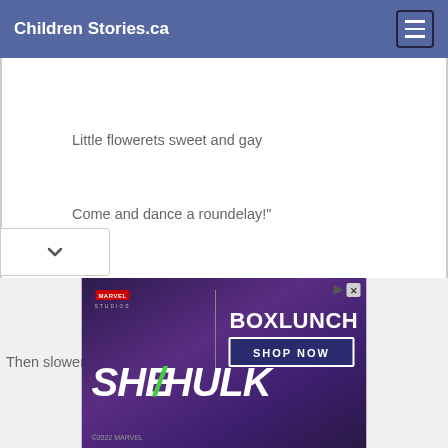Children Stories.ca
Little flowerets sweet and gay
Come and dance a roundelay!"
Then slower and slower fades
ance.
[Figure (screenshot): Advertisement for Marvel Studios She-Hulk and BoxLunch Shop Now]